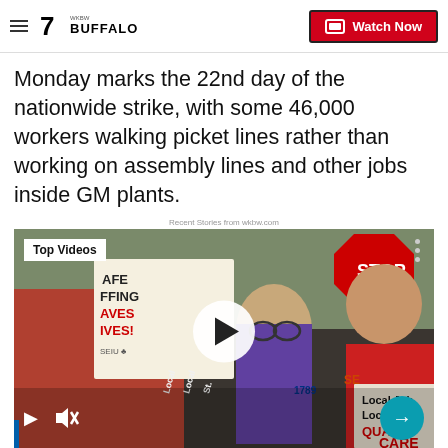7 WKBW BUFFALO | Watch Now
Monday marks the 22nd day of the nationwide strike, with some 46,000 workers walking picket lines rather than working on assembly lines and other jobs inside GM plants.
Recent Stories from wkbw.com
[Figure (screenshot): Video player showing workers on a picket line holding signs including 'SAFE STAFFING SAVES LIVES', 'STOP', 'Local Jobs Local Standards', and 'QUALITY CARE'. The video has a 'Top Videos' badge in the upper left, a play button in the center, mute and play controls at the bottom left, and a next arrow button at the bottom right.]